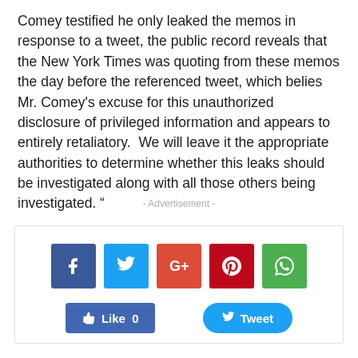Comey testified he only leaked the memos in response to a tweet, the public record reveals that the New York Times was quoting from these memos the day before the referenced tweet, which belies Mr. Comey's excuse for this unauthorized disclosure of privileged information and appears to entirely retaliatory.  We will leave it the appropriate authorities to determine whether this leaks should be investigated along with all those others being investigated. “
- Advertisement -
[Figure (other): Social sharing widget with Facebook, Twitter, Google+, Pinterest, WhatsApp icon buttons, and Like/Tweet action buttons]